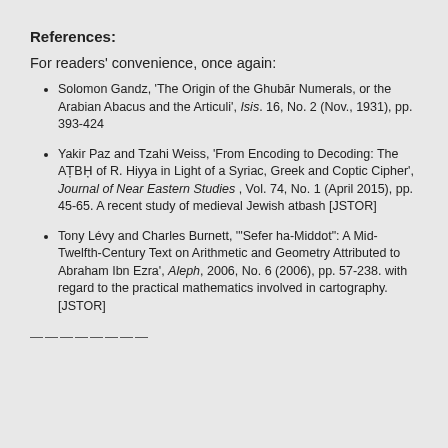References:
For readers' convenience, once again:
Solomon Gandz, 'The Origin of the Ghubār Numerals, or the Arabian Abacus and the Articuli', Isis. 16, No. 2 (Nov., 1931), pp. 393-424
Yakir Paz and Tzahi Weiss, 'From Encoding to Decoding: The AṬBḤ of R. Hiyya in Light of a Syriac, Greek and Coptic Cipher', Journal of Near Eastern Studies , Vol. 74, No. 1 (April 2015), pp. 45-65. A recent study of medieval Jewish atbash [JSTOR]
Tony Lévy and Charles Burnett, '"Sefer ha-Middot": A Mid-Twelfth-Century Text on Arithmetic and Geometry Attributed to Abraham Ibn Ezra', Aleph, 2006, No. 6 (2006), pp. 57-238. with regard to the practical mathematics involved in cartography. [JSTOR]
————————